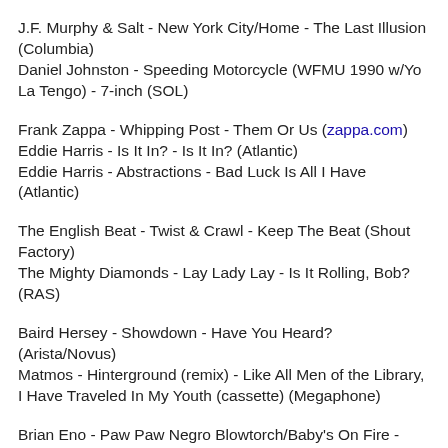J.F. Murphy & Salt - New York City/Home - The Last Illusion (Columbia)
Daniel Johnston - Speeding Motorcycle (WFMU 1990 w/Yo La Tengo) - 7-inch (SOL)
Frank Zappa - Whipping Post - Them Or Us (zappa.com)
Eddie Harris - Is It In? - Is It In? (Atlantic)
Eddie Harris - Abstractions - Bad Luck Is All I Have (Atlantic)
The English Beat - Twist & Crawl - Keep The Beat (Shout Factory)
The Mighty Diamonds - Lay Lady Lay - Is It Rolling, Bob? (RAS)
Baird Hersey - Showdown - Have You Heard? (Arista/Novus)
Matmos - Hinterground (remix) - Like All Men of the Library, I Have Traveled In My Youth (cassette) (Megaphone)
Brian Eno - Paw Paw Negro Blowtorch/Baby's On Fire - Here Come The Warm Jets (EG)
The Golden Palominos - Hot Seat - The Golden Palominos-A